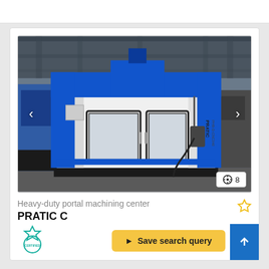[Figure (photo): Heavy-duty CNC portal machining center (PRATIC brand) in a factory/industrial setting. The machine is large, primarily white and blue, with two viewing windows on the front enclosure and a control pendant on the right side. A navigation arrow overlay is visible on the left and right sides of the image. Image counter showing '8' in the bottom right corner.]
Heavy-duty portal machining center
PRATIC C
Save search query